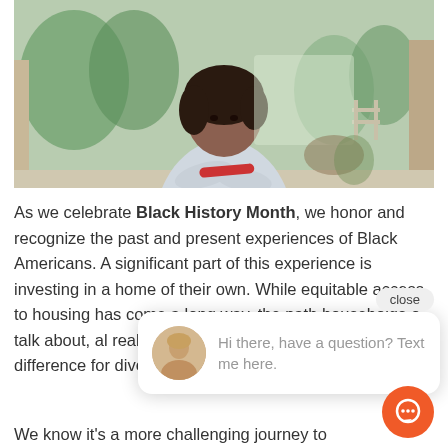[Figure (photo): A Black woman standing on a porch with arms crossed, wearing a light blue shirt, trees and a fence visible in the background.]
As we celebrate Black History Month, we honor and recognize the past and present experiences of Black Americans. A significant part of this experience is investing in a home of their own. While equitable access to housing has come a long way, the path households o talk about, al real estate experts can make all the difference for diverse homebuyers.
We know it's a more challenging journey to